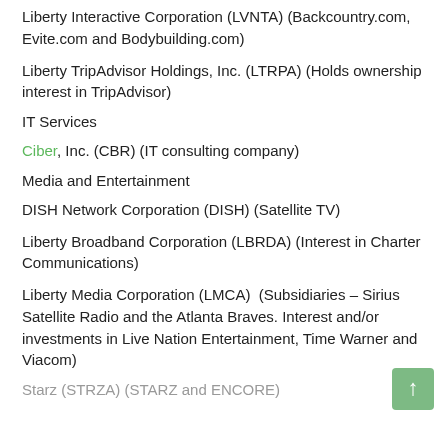Liberty Interactive Corporation (LVNTA) (Backcountry.com, Evite.com and Bodybuilding.com)
Liberty TripAdvisor Holdings, Inc. (LTRPA) (Holds ownership interest in TripAdvisor)
IT Services
Ciber, Inc. (CBR) (IT consulting company)
Media and Entertainment
DISH Network Corporation (DISH) (Satellite TV)
Liberty Broadband Corporation (LBRDA) (Interest in Charter Communications)
Liberty Media Corporation (LMCA)  (Subsidiaries – Sirius Satellite Radio and the Atlanta Braves. Interest and/or investments in Live Nation Entertainment, Time Warner and Viacom)
Starz (STRZA) (STARZ and ENCORE)